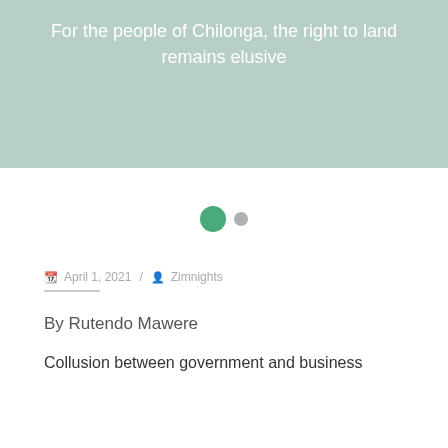For the people of Chilonga, the right to land remains elusive
[Figure (other): Loading indicator with two dots: one large green dot and one smaller grey dot]
April 1, 2021 / Zimnights
By Rutendo Mawere
Collusion between government and business leads to the...